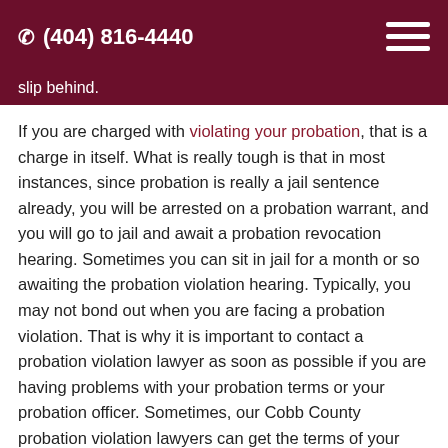(404) 816-4440
slip behind.
If you are charged with violating your probation, that is a charge in itself. What is really tough is that in most instances, since probation is really a jail sentence already, you will be arrested on a probation warrant, and you will go to jail and await a probation revocation hearing. Sometimes you can sit in jail for a month or so awaiting the probation violation hearing. Typically, you may not bond out when you are facing a probation violation. That is why it is important to contact a probation violation lawyer as soon as possible if you are having problems with your probation terms or your probation officer. Sometimes, our Cobb County probation violation lawyers can get the terms of your probation amended if feel that you may have some problems meeting them. For example, it is common for repeat DUI offenders to have to have an